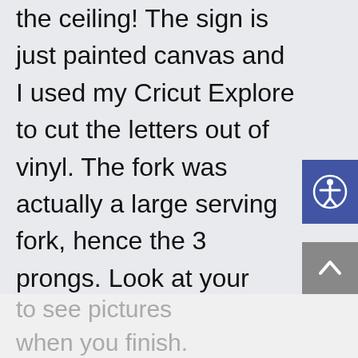the ceiling! The sign is just painted canvas and I used my Cricut Explore to cut the letters out of vinyl. The fork was actually a large serving fork, hence the 3 prongs. Look at your local thrift store, they usually have a few. Best of luck with your room! I would love to see pictures when you finish.